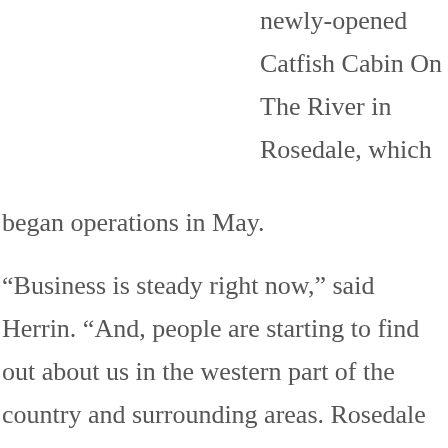newly-opened Catfish Cabin On The River in Rosedale, which began operations in May.
“Business is steady right now,” said Herrin. “And, people are starting to find out about us in the western part of the country and surrounding areas. Rosedale needed a new dining establishment and we were very pleased to open Catfish Cabin On The River. We’ve had some staffing issues, like many other restaurants, but I go